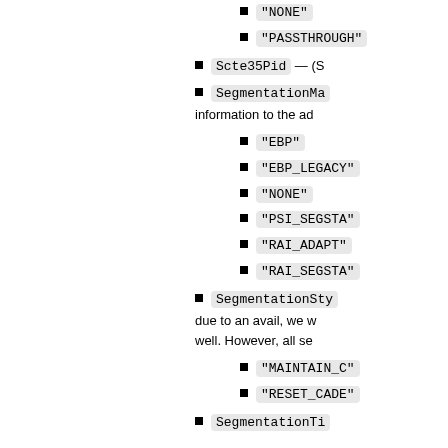"NONE"
"PASSTHROUGH"
Scte35Pid — (S
SegmentationMa — information to the ad
"EBP"
"EBP_LEGACY"
"NONE"
"PSI_SEGSTA"
"RAI_ADAPT"
"RAI_SEGSTA"
SegmentationSty — due to an avail, we w well. However, all se
"MAINTAIN_C"
"RESET_CADE"
SegmentationTi